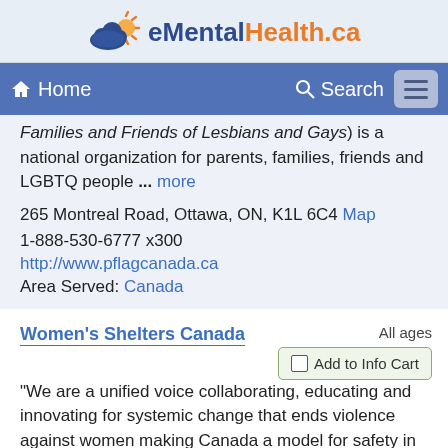eMentalHealth.ca
Home  Search
Families and Friends of Lesbians and Gays) is a national organization for parents, families, friends and LGBTQ people ... more
265 Montreal Road, Ottawa, ON, K1L 6C4 Map
1-888-530-6777 x300
http://www.pflagcanada.ca
Area Served: Canada
Women's Shelters Canada
All ages
Add to Info Cart
"We are a unified voice collaborating, educating and innovating for systemic change that ends violence against women making Canada a model for safety in ... more
ON, Canada